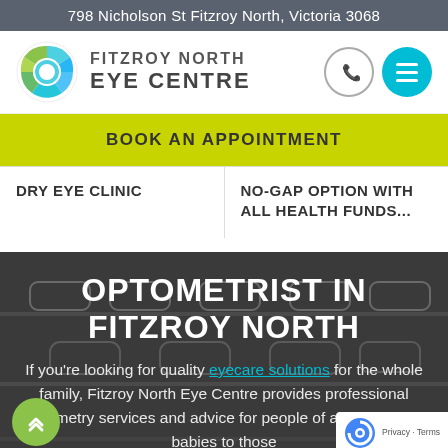798 Nicholson St Fitzroy North, Victoria 3068
[Figure (logo): Fitzroy North Eye Centre logo with circular eye graphic and text]
BOOK AN APPOINTMENT
DRY EYE CLINIC
NO-GAP OPTION WITH ALL HEALTH FUNDS...
OPTOMETRIST IN FITZROY NORTH
If you're looking for quality eyecare solutions for the whole family, Fitzroy North Eye Centre provides professional optometry services and advice for people of all ages, from babies to those